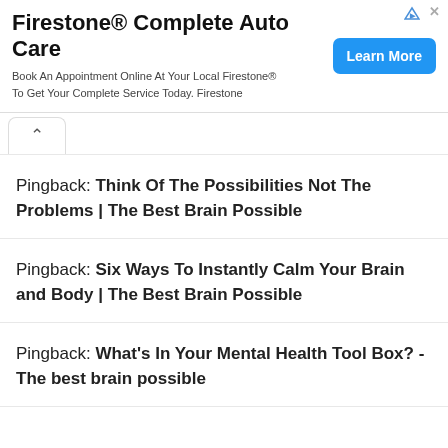[Figure (other): Firestone Complete Auto Care advertisement banner with Learn More button]
Pingback: Think Of The Possibilities Not The Problems | The Best Brain Possible
Pingback: Six Ways To Instantly Calm Your Brain and Body | The Best Brain Possible
Pingback: What's In Your Mental Health Tool Box? - The best brain possible